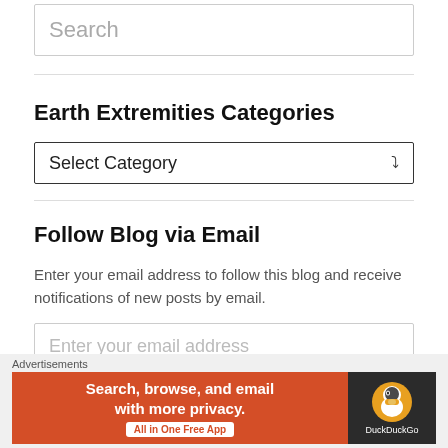Search
Earth Extremities Categories
Select Category
Follow Blog via Email
Enter your email address to follow this blog and receive notifications of new posts by email.
Enter your email address
Follow
Advertisements
[Figure (screenshot): DuckDuckGo advertisement banner: orange left section with text 'Search, browse, and email with more privacy. All in One Free App', dark right section with DuckDuckGo duck logo and brand name.]